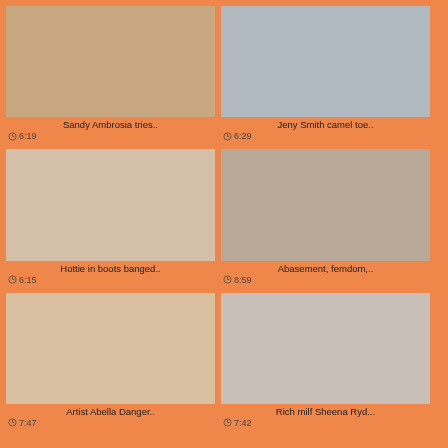[Figure (photo): Video thumbnail - Sandy Ambrosia]
Sandy Ambrosia tries..
6:19
[Figure (photo): Video thumbnail - Jeny Smith]
Jeny Smith camel toe..
6:29
[Figure (photo): Video thumbnail - Hottie in boots]
Hottie in boots banged..
6:15
[Figure (photo): Video thumbnail - Abasement femdom]
Abasement, femdom,..
8:59
[Figure (photo): Video thumbnail - Artist Abella Danger]
Artist Abella Danger..
7:47
[Figure (photo): Video thumbnail - Rich milf Sheena Ryder]
Rich milf Sheena Ryd...
7:42